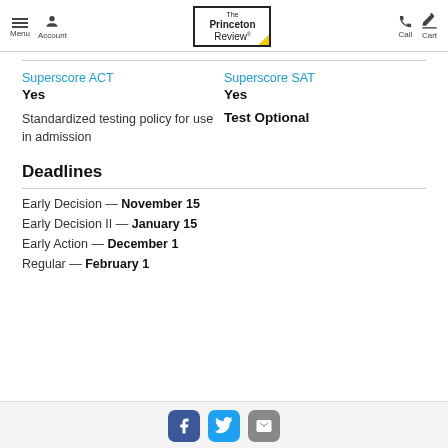Menu | Account | The Princeton Review | Call | Cart
Superscore ACT
Yes
Superscore SAT
Yes
Standardized testing policy for use in admission
Test Optional
Deadlines
Early Decision — November 15
Early Decision II — January 15
Early Action — December 1
Regular — February 1
Facebook | Twitter | Email